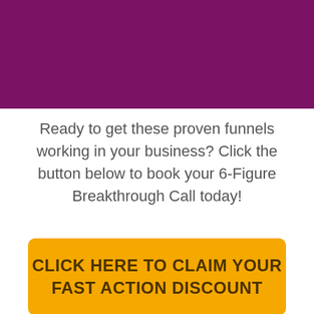[Figure (illustration): Solid purple/magenta banner spanning the top of the page]
Ready to get these proven funnels working in your business? Click the button below to book your 6-Figure Breakthrough Call today!
CLICK HERE TO CLAIM YOUR FAST ACTION DISCOUNT